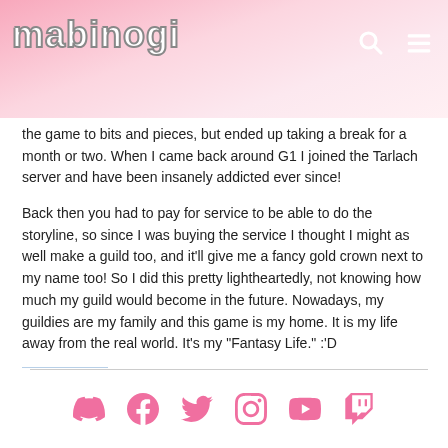mabinogi
the game to bits and pieces, but ended up taking a break for a month or two. When I came back around G1 I joined the Tarlach server and have been insanely addicted ever since!
Back then you had to pay for service to be able to do the storyline, so since I was buying the service I thought I might as well make a guild too, and it'll give me a fancy gold crown next to my name too! So I did this pretty lightheartedly, not knowing how much my guild would become in the future. Nowadays, my guildies are my family and this game is my home. It is my life away from the real world. It's my "Fantasy Life." :'D
[Figure (illustration): Avatar/character image of an anime-style game character with light hair and red outfit]
Social media icons: Discord, Facebook, Twitter, Instagram, YouTube, Twitch